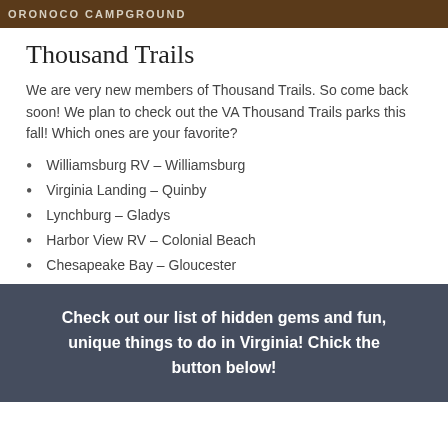ORONOCO CAMPGROUND
Thousand Trails
We are very new members of Thousand Trails. So come back soon! We plan to check out the VA Thousand Trails parks this fall! Which ones are your favorite?
Williamsburg RV – Williamsburg
Virginia Landing – Quinby
Lynchburg – Gladys
Harbor View RV – Colonial Beach
Chesapeake Bay – Gloucester
Check out our list of hidden gems and fun, unique things to do in Virginia! Chick the button below!